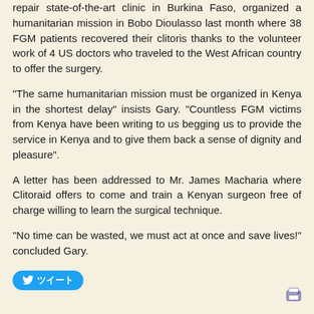repair state-of-the-art clinic in Burkina Faso, organized a humanitarian mission in Bobo Dioulasso last month where 38 FGM patients recovered their clitoris thanks to the volunteer work of 4 US doctors who traveled to the West African country to offer the surgery.
"The same humanitarian mission must be organized in Kenya in the shortest delay" insists Gary. "Countless FGM victims from Kenya have been writing to us begging us to provide the service in Kenya and to give them back a sense of dignity and pleasure".
A letter has been addressed to Mr. James Macharia where Clitoraid offers to come and train a Kenyan surgeon free of charge willing to learn the surgical technique.
"No time can be wasted, we must act at once and save lives!" concluded Gary.
[Figure (other): Twitter share button with bird icon and Japanese text]
[Figure (other): Print icon in bottom right corner]